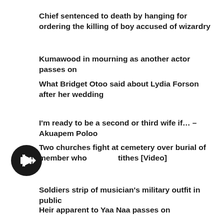Chief sentenced to death by hanging for ordering the killing of boy accused of wizardry
Kumawood in mourning as another actor passes on
What Bridget Otoo said about Lydia Forson after her wedding
I'm ready to be a second or third wife if… – Akuapem Poloo
Two churches fight at cemetery over burial of member who tithes [Video]
Soldiers strip of musician's military outfit in public
Heir apparent to Yaa Naa passes on